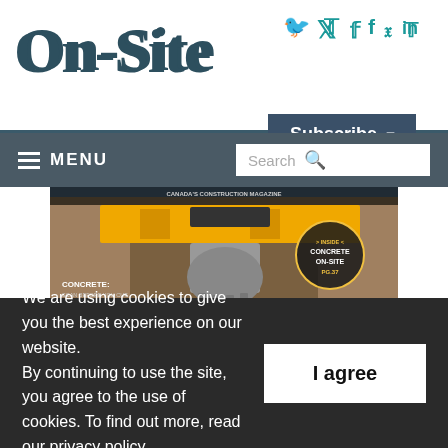On-Site
Social icons: Twitter, Facebook, LinkedIn | Subscribe button
≡ MENU | Search
[Figure (photo): On-Site magazine cover showing a construction excavator bucket in a trench. Text on cover: CANADA'S CONSTRUCTION MAGAZINE. INSIDE: CONCRETE ON-SITE PG.37. CONCRETE: SCAN BEFORE YOU CUT. CONSTRUCTION: FACING A CREDIT CRUNCH. INFRASTRUCTURE: ROADWORK AHEAD.]
We are using cookies to give you the best experience on our website. By continuing to use the site, you agree to the use of cookies. To find out more, read our privacy policy.